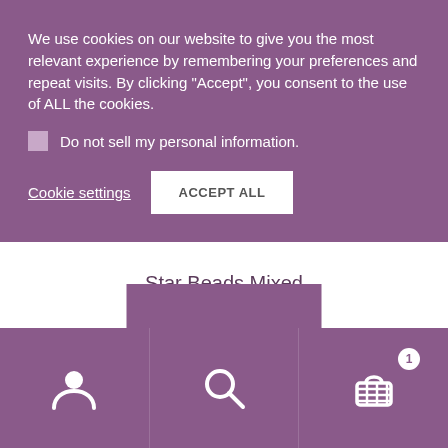We use cookies on our website to give you the most relevant experience by remembering your preferences and repeat visits. By clicking “Accept”, you consent to the use of ALL the cookies.
Do not sell my personal information.
Cookie settings
ACCEPT ALL
Star Beads Mixed
€1.25
Add to Wishlist